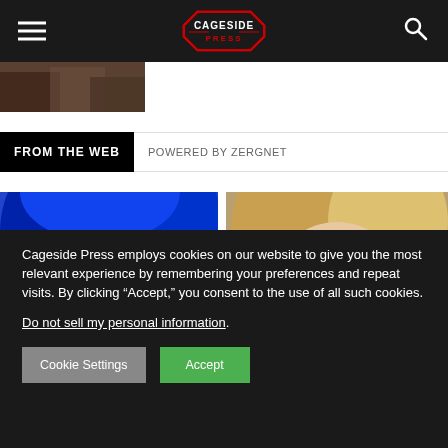Cageside Press — navigation header with hamburger menu and search icon
[Figure (photo): Small thumbnail image strip showing partial photo at top left below header]
FROM THE WEB    POWERED BY ZERGNET
[Figure (photo): Left photo panel showing person with blue hair, partial face/forehead visible]
[Figure (photo): Right photo panel showing blonde person, partial face visible]
Cageside Press employs cookies on our website to give you the most relevant experience by remembering your preferences and repeat visits. By clicking “Accept,” you consent to the use of all such cookies. Do not sell my personal information.